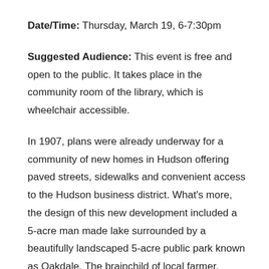Date/Time: Thursday, March 19, 6-7:30pm
Suggested Audience: This event is free and open to the public. It takes place in the community room of the library, which is wheelchair accessible.
In 1907, plans were already underway for a community of new homes in Hudson offering paved streets, sidewalks and convenient access to the Hudson business district. What's more, the design of this new development included a 5-acre man made lake surrounded by a beautifully landscaped 5-acre public park known as Oakdale. The brainchild of local farmer, banker and businessman Arthur Farrand, “Oakdale Park” was created for the benefit and enjoyment of all Hudson citizens.
Oakdale Park is used today by the City of Hudson Youth Department as a summer day camp site, a fishing, canoeing and swimming area for many locals, a natural respite from the city, and